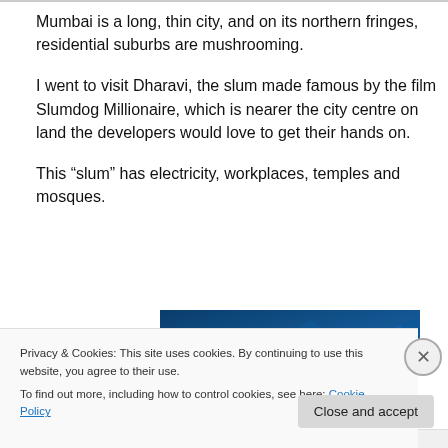Mumbai is a long, thin city, and on its northern fringes, residential suburbs are mushrooming.
I went to visit Dharavi, the slum made famous by the film Slumdog Millionaire, which is nearer the city centre on land the developers would love to get their hands on.
This “slum” has electricity, workplaces, temples and mosques.
[Figure (photo): Partial view of a dark blue graphic or banner image, partially obscured by the cookie consent overlay.]
Privacy & Cookies: This site uses cookies. By continuing to use this website, you agree to their use.
To find out more, including how to control cookies, see here: Cookie Policy
Close and accept